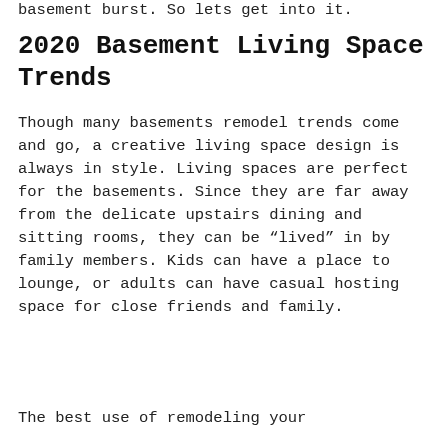basement burst. So lets get into it.
2020 Basement Living Space Trends
Though many basements remodel trends come and go, a creative living space design is always in style. Living spaces are perfect for the basements. Since they are far away from the delicate upstairs dining and sitting rooms, they can be “lived” in by family members. Kids can have a place to lounge, or adults can have casual hosting space for close friends and family.
The best use of remodeling your